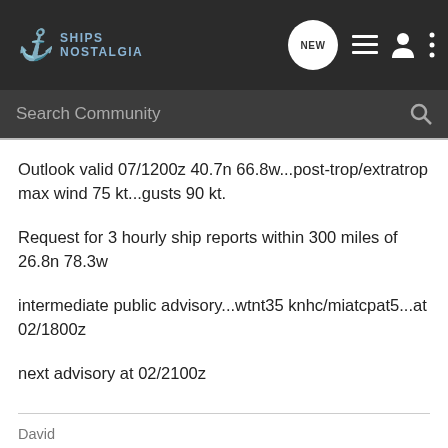SHIPS NOSTALGIA
Outlook valid 07/1200z 40.7n 66.8w...post-trop/extratrop max wind 75 kt...gusts 90 kt.
Request for 3 hourly ship reports within 300 miles of 26.8n 78.3w
intermediate public advisory...wtnt35 knhc/miatcpat5...at 02/1800z
next advisory at 02/2100z
David